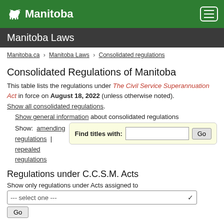Manitoba [logo]
Manitoba Laws
Manitoba.ca > Manitoba Laws > Consolidated regulations
Consolidated Regulations of Manitoba
This table lists the regulations under The Civil Service Superannuation Act in force on August 18, 2022 (unless otherwise noted). Show all consolidated regulations.
Show general information about consolidated regulations
Show: amending regulations | repealed regulations
Find titles with: [input] Go
Regulations under C.C.S.M. Acts
Show only regulations under Acts assigned to
--- select one ---
Go